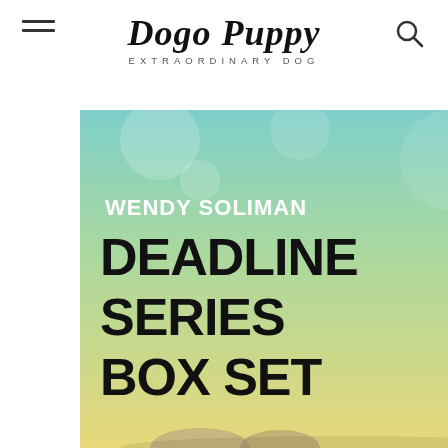Dogo Puppy — EXTRAORDINARY DOG
[Figure (photo): A box set of books by Wendy Soliman titled 'Deadline Series Box Set'. The spine of one book reads 'A Date to Die For' and another partially visible spine reads 'A Contest to K...' with a man's face visible on the cover.]